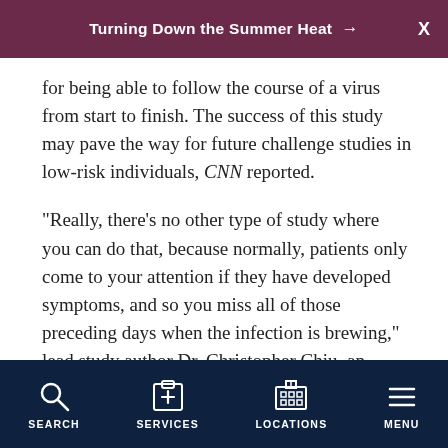Turning Down the Summer Heat →
for being able to follow the course of a virus from start to finish. The success of this study may pave the way for future challenge studies in low-risk individuals, CNN reported.
"Really, there's no other type of study where you can do that, because normally, patients only come to your attention if they have developed symptoms, and so you miss all of those preceding days when the infection is brewing," lead study author Dr. Christopher Chiu, an infectious disease physician and immunologist at Imperial College London, told CNN.
SEARCH   SERVICES   LOCATIONS   MENU